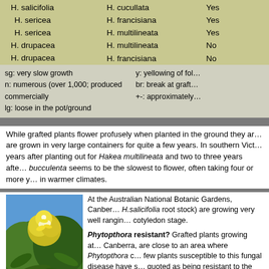| Scion | Rootstock | Compatible |
| --- | --- | --- |
| H. salicifolia | H. cucullata | Yes |
| H. sericea | H. francisiana | Yes |
| H. sericea | H. multilineata | Yes |
| H. drupacea | H. multilineata | No |
| H. drupacea | H. francisiana | No |
sg: very slow growth
n: numerous (over 1,000; produced commercially
lg: loose in the pot/ground
y: yellowing of fol...
br: break at graft...
+-: approximately...
While grafted plants flower profusely when planted in the ground they are grown in very large containers for quite a few years. In southern Vict... years after planting out for Hakea multilineata and two to three years afte... bucculenta seems to be the slowest to flower, often taking four or more y... in warmer climates.
[Figure (photo): Close-up photograph of yellow-green Hakea flowers/foliage against a blue sky background]
At the Australian National Botanic Gardens, Canber... H.salicifolia root stock) are growing very well rangin... cotyledon stage.
Phytopthora resistant? Grafted plants growing at... Canberra, are close to an area where Phytopthora c... few plants susceptible to this fungal disease have s... quoted as being resistant to the cinnamon fungus, s... survived in these conditions.
A leaf spot disease is an occasional problem in ve...